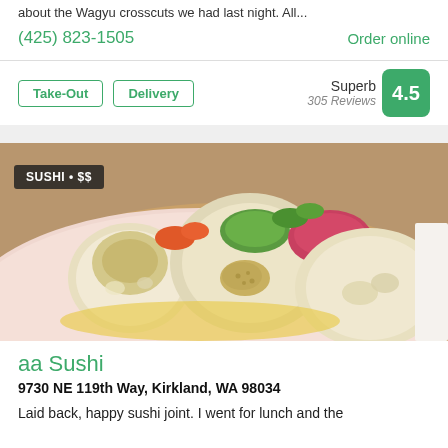about the Wagyu crosscuts we had last night. All...
(425) 823-1505
Order online
Take-Out
Delivery
Superb 305 Reviews 4.5
[Figure (photo): Close-up photo of sushi rolls on a pink plate with label 'SUSHI • $$']
aa Sushi
9730 NE 119th Way, Kirkland, WA 98034
Laid back, happy sushi joint. I went for lunch and the